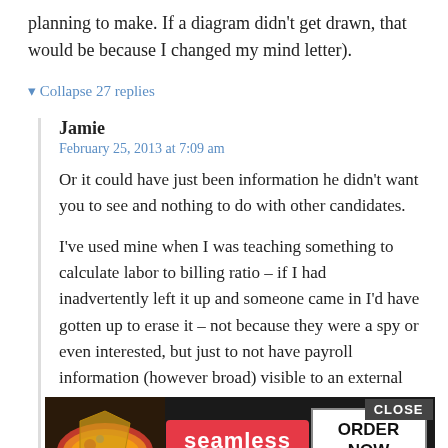planning to make. If a diagram didn't get drawn, that would be because I changed my mind letter).
▾ Collapse 27 replies
Jamie
February 25, 2013 at 7:09 am
Or it could have just been information he didn't want you to see and nothing to do with other candidates.
I've used mine when I was teaching something to calculate labor to billing ratio – if I had inadvertently left it up and someone came in I'd have gotten up to erase it – not because they were a spy or even interested, but just to not have payroll information (however broad) visible to an external party.
[Figure (screenshot): Seamless food delivery advertisement banner with pizza image on left, red seamless logo in center, and ORDER NOW button on right, with CLOSE button in top right corner.]
I've a... (text partially obscured by ad)